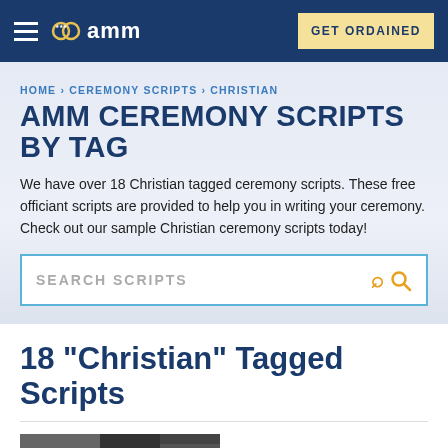AMM | GET ORDAINED
HOME › CEREMONY SCRIPTS › CHRISTIAN
AMM CEREMONY SCRIPTS BY TAG
We have over 18 Christian tagged ceremony scripts. These free officiant scripts are provided to help you in writing your ceremony. Check out our sample Christian ceremony scripts today!
SEARCH SCRIPTS
18 "Christian" Tagged Scripts
[Figure (photo): Thumbnail image at bottom of page, partially visible, dark/grayscale photo]